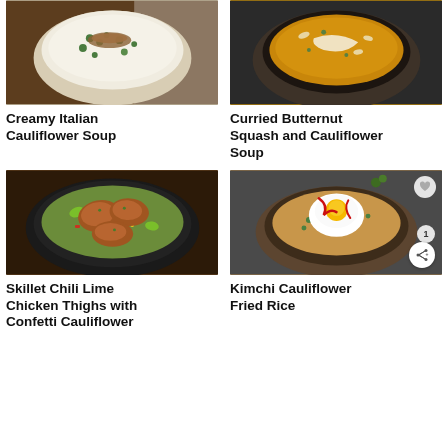[Figure (photo): Overhead shot of Creamy Italian Cauliflower Soup in a bowl, white creamy soup with green peas and toppings]
[Figure (photo): Overhead shot of Curried Butternut Squash and Cauliflower Soup in a bowl, golden yellow soup with cream swirl and nuts]
Creamy Italian Cauliflower Soup
Curried Butternut Squash and Cauliflower Soup
[Figure (photo): Overhead shot of Skillet Chili Lime Chicken Thighs with Confetti Cauliflower in a cast iron pan, chicken thighs with lime wedges and colorful vegetables]
[Figure (photo): Overhead shot of Kimchi Cauliflower Fried Rice in a bowl, fried rice with a sunny side up egg drizzled with sriracha]
Skillet Chili Lime Chicken Thighs with Confetti Cauliflower
Kimchi Cauliflower Fried Rice